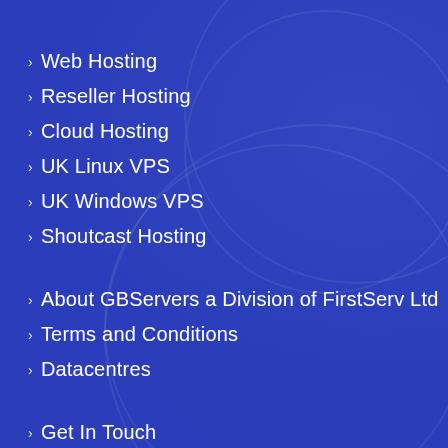Web Hosting
Reseller Hosting
Cloud Hosting
UK Linux VPS
UK Windows VPS
Shoutcast Hosting
About GBServers a Division of FirstServ Ltd
Terms and Conditions
Datacentres
Get In Touch
Existing Client Login